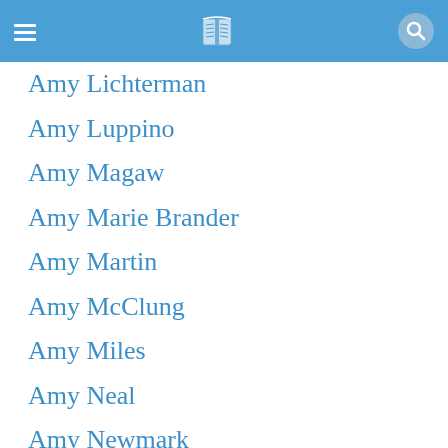App header with menu, book logo, and search icon
Amy Lichterman
Amy Luppino
Amy Magaw
Amy Marie Brander
Amy Martin
Amy McClung
Amy Miles
Amy Neal
Amy Newmark
Amy Peters
Amy Plum
Amy Poehler
Amy Rachiele
Amy Rawlings